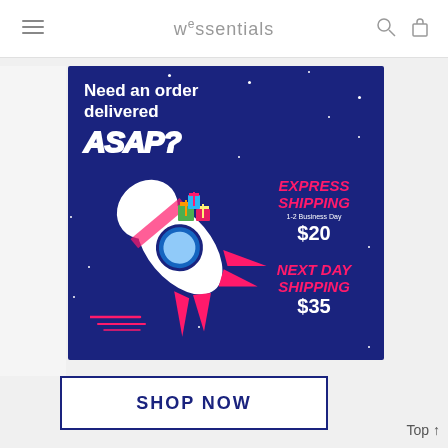w²ssentials
[Figure (illustration): Dark blue promotional banner with rocket ship carrying colorful gift boxes. Text reads: Need an order delivered ASAP? EXPRESS SHIPPING 1-2 Business Day $20. NEXT DAY SHIPPING $35. White stars scattered across background. Pink rocket with blue porthole window. Speed lines at bottom left.]
SHOP NOW